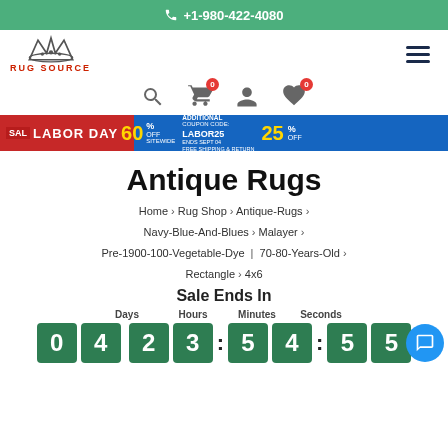+1-980-422-4080
[Figure (logo): Rug Source logo with crown icon and red text]
[Figure (infographic): Labor Day sale banner: 60% off sitewide, additional 25% off with coupon LABOR25, free shipping and return]
Antique Rugs
Home > Rug Shop > Antique-Rugs > Navy-Blue-And-Blues > Malayer > Pre-1900-100-Vegetable-Dye | 70-80-Years-Old > Rectangle > 4x6
Sale Ends In
Days 04  Hours 23  Minutes 54  Seconds 55